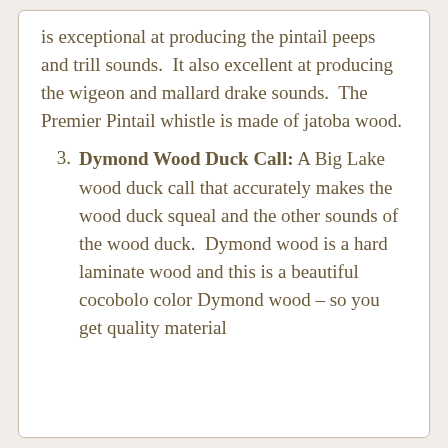is exceptional at producing thepintail peeps and trill sounds.  It also excellent at producing the wigeon and mallard drake sounds.  The Premier Pintail whistle is made of jatoba wood.
Dymond Wood Duck Call: A Big Lake wood duck call that accurately makes the wood duck squeal and the other sounds of the wood duck.  Dymond wood is a hard laminate wood and this is a beautiful cocobolo color Dymond wood – so you get quality material